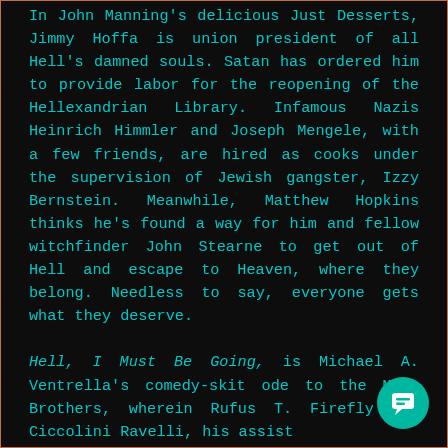In John Manning's delicious Just Desserts, Jimmy Hoffa is union president of all Hell's damned souls. Satan has ordered him to provide labor for the reopening of the Hellexandrian Library. Infamous Nazis Heinrich Himmler and Joseph Mengele, with a few friends, are hired as cooks under the supervision of Jewish gangster, Izzy Bernstein. Meanwhile, Matthew Hopkins thinks he's found a way for him and fellow witchfinder John Stearne to get out of Hell and escape to Heaven, where they belong. Needless to say, everyone gets what they deserve.

Hell, I Must Be Going, is Michael A. Ventrella's comedy-skit ode to the Marx Brothers, wherein Rufus T. Firefly and Ciccolini Ravelli, his assistant, are in charge of keeping track of all assignments